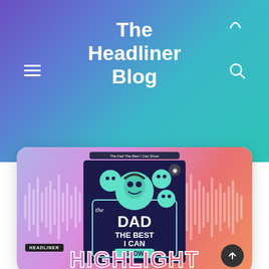The Headliner Blog
[Figure (screenshot): Blog website header with gradient background (purple to teal), hamburger menu icon on left, search icon on right, and site title 'The Headliner Blog' centered. Below is a card showing the 'Dad The Best I Can Show' podcast cover art with waveform visualization and 'HIGHLIGHT' text at the bottom, plus a Headliner badge and scroll-to-top button.]